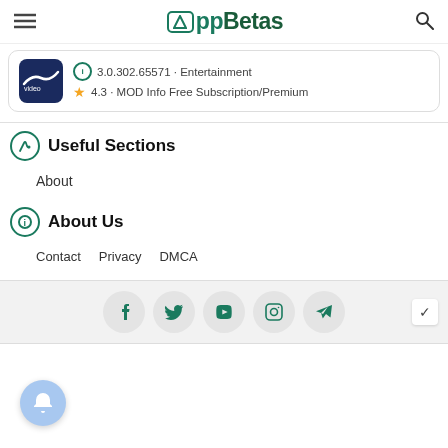AppBetas
[Figure (screenshot): App card showing Amazon Video app with version 3.0.302.65571, Entertainment category, rating 4.3, MOD Info Free Subscription/Premium]
Useful Sections
About
About Us
Contact   Privacy   DMCA
[Figure (infographic): Social media icons: Facebook, Twitter, YouTube, Instagram, Telegram]
[Figure (other): Blue notification bell button at bottom left]